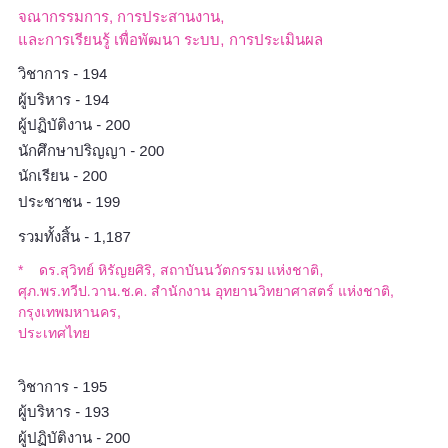xxxxxxxx xxxxxxxxxx xxxxxx, xxxxxxxxxxxxxx
xxxxx - 194
xxxxxxxxx - 194
xxxxxxxxxx - 200
xxxxxxxxxx - 200
xxxxxxx - 200
xxxxxxxxx - 199
xxxxxxxxx - 1,187
* xx.xxxxxxxx xxxxxxxxx, xxxxxxxxxx xxxxxxx, xxx.xx.xxx.xxx.xx. xxxxxxxxx xxxxxxxxxxx xxxxxx, xxxxxxxxxxxxx, xxxxxxxxxxxx
xxxxx - 195
xxxxxxxxx - 193
xxxxxxxxxx - 200